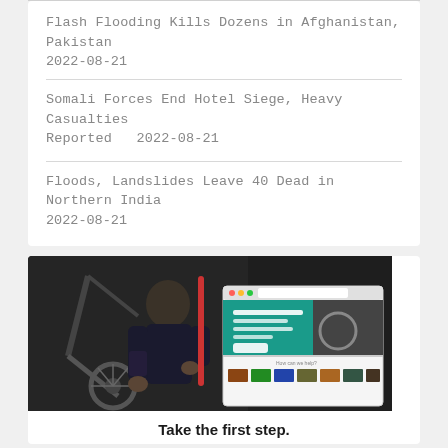Flash Flooding Kills Dozens in Afghanistan, Pakistan
2022-08-21
Somali Forces End Hotel Siege, Heavy Casualties Reported   2022-08-21
Floods, Landslides Leave 40 Dead in Northern India
2022-08-21
[Figure (photo): Man working on a bicycle in a workshop, with a website screenshot overlay showing a cycling/bike shop website]
Take the first step.